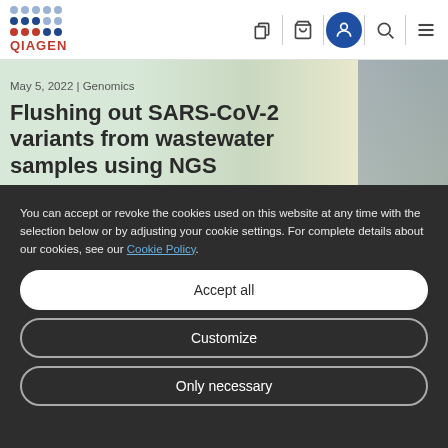[Figure (screenshot): QIAGEN website navigation bar with logo, cart, profile, search, and menu icons]
[Figure (photo): Hero image background showing greenish blurred laboratory scene with a person in blue lab coat on the right]
May 5, 2022 | Genomics
Flushing out SARS-CoV-2 variants from wastewater samples using NGS
You can accept or revoke the cookies used on this website at any time with the selection below or by adjusting your cookie settings. For complete details about our cookies, see our Cookie Policy.
Accept all
Customize
Only necessary